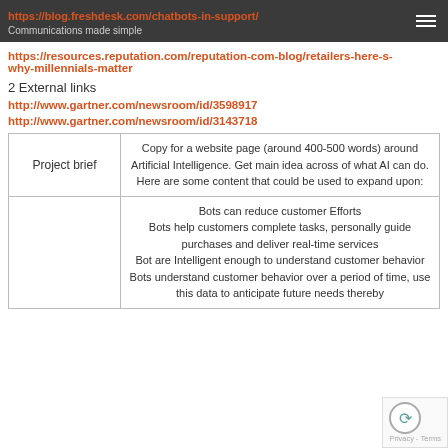https://blog.freshdesk.com/chatbots-in-support/
Communications made simple
https://resources.reputation.com/reputation-com-blog/retailers-here-s-why-millennials-matter
2 External links
http://www.gartner.com/newsroom/id/3598917
http://www.gartner.com/newsroom/id/3143718
| Project brief | Content |
| --- | --- |
| Project brief | Copy for a website page (around 400-500 words) around Artificial Intelligence. Get main idea across of what AI can do. Here are some content that could be used to expand upon: |
|  | Bots can reduce customer Efforts
Bots help customers complete tasks, personally guide purchases and deliver real-time services
Bot are Intelligent enough to understand customer behavior
Bots understand customer behavior over a period of time, use this data to anticipate future needs thereby |